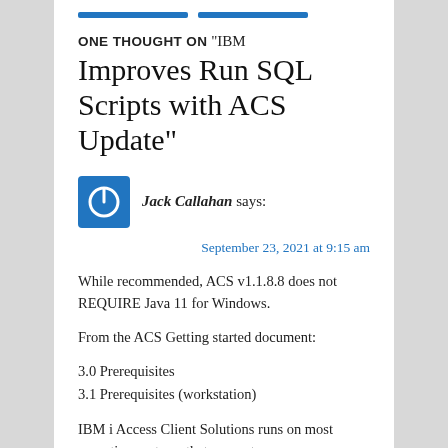ONE THOUGHT ON "IBM Improves Run SQL Scripts with ACS Update"
Jack Callahan says:
September 23, 2021 at 9:15 am
While recommended, ACS v1.1.8.8 does not REQUIRE Java 11 for Windows.
From the ACS Getting started document:
3.0 Prerequisites
3.1 Prerequisites (workstation)
IBM i Access Client Solutions runs on most operating systems that support